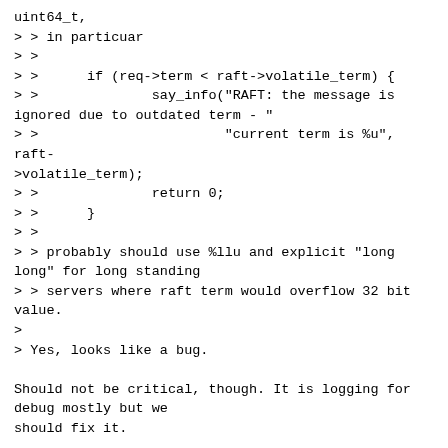uint64_t,
> > in particuar
> >
> >      if (req->term < raft->volatile_term) {
> >              say_info("RAFT: the message is ignored due to outdated term - "
> >                       "current term is %u", raft->volatile_term);
> >              return 0;
> >      }
> >
> > probably should use %llu and explicit "long long" for long standing
> > servers where raft term would overflow 32 bit value.
>
> Yes, looks like a bug.

Should not be critical, though. It is logging for debug mostly but we
should fix it.

> But a more appropriate fix would be to investigate why don't we have
> compile time checks for this. The bug in raft's say_info() is clearly
> an error and should have been alarmed at compilation.

We have kind of check